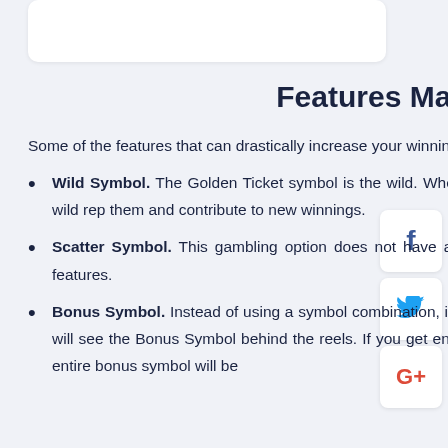Features Made of Gold
Some of the features that can drastically increase your winnings are as follows:
Wild Symbol. The Golden Ticket symbol is the wild. When you manage to land three matching symbols, then the wild replaces them and contribute to new winnings.
Scatter Symbol. This gambling option does not have a scatter symbol, but it possesses other lucrative bonus features.
Bonus Symbol. Instead of using a symbol combination, it is required to clear the entire reel. During each spin, you will see the Bonus Symbol behind the reels. If you get enough of the cascading symbols to clear the reel, then the entire bonus symbol will be